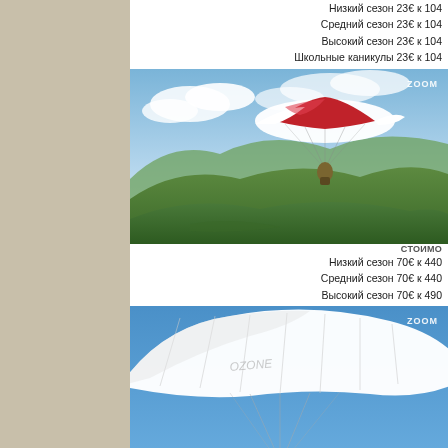Низкий сезон 23€ к 104
Средний сезон 23€ к 104
Высокий сезон 23€ к 104
Школьные каникулы 23€ к 104
[Figure (photo): Paraglider with red and white canopy flying over green hills and valleys, blue sky with clouds. ZOOM watermark in top right.]
СТОИМО
Низкий сезон 70€ к 440
Средний сезон 70€ к 440
Высокий сезон 70€ к 490
[Figure (photo): White paraglider canopy against blue sky. ZOOM watermark in top right.]